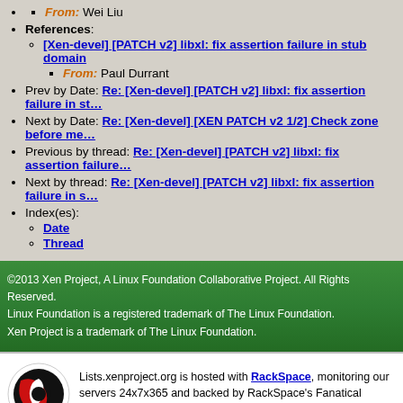From: Wei Liu
References:
[Xen-devel] [PATCH v2] libxl: fix assertion failure in stub domain
From: Paul Durrant
Prev by Date: Re: [Xen-devel] [PATCH v2] libxl: fix assertion failure in st...
Next by Date: Re: [Xen-devel] [XEN PATCH v2 1/2] Check zone before me...
Previous by thread: Re: [Xen-devel] [PATCH v2] libxl: fix assertion failure...
Next by thread: Re: [Xen-devel] [PATCH v2] libxl: fix assertion failure in s...
Index(es):
Date
Thread
©2013 Xen Project, A Linux Foundation Collaborative Project. All Rights Reserved. Linux Foundation is a registered trademark of The Linux Foundation. Xen Project is a trademark of The Linux Foundation.
Lists.xenproject.org is hosted with RackSpace, monitoring our servers 24x7x365 and backed by RackSpace's Fanatical Support®.